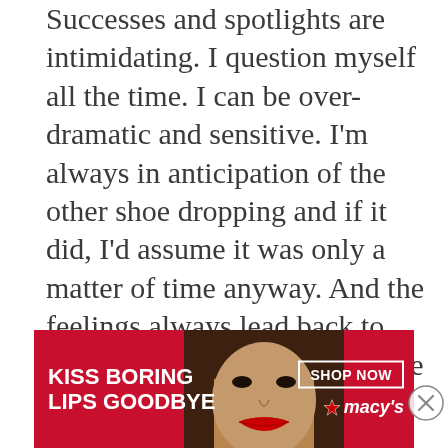Successes and spotlights are intimidating. I question myself all the time. I can be over-dramatic and sensitive. I'm always in anticipation of the other shoe dropping and if it did, I'd assume it was only a matter of time anyway. And the feelings always lead back to… is this who I am or this because of what happened to me?
A lifetime later, I am married to the love of my life and have two children. I have become an advocate for self-love through my wellness coaching practice as well as my makeup artistry and blog. I don't believe
[Figure (infographic): Macy's advertisement banner with red background. Text on left reads 'KISS BORING LIPS GOODBYE' in white bold capitals. Center shows a woman's face with red lips. Right side has a white-bordered 'SHOP NOW' button and Macy's star logo in white.]